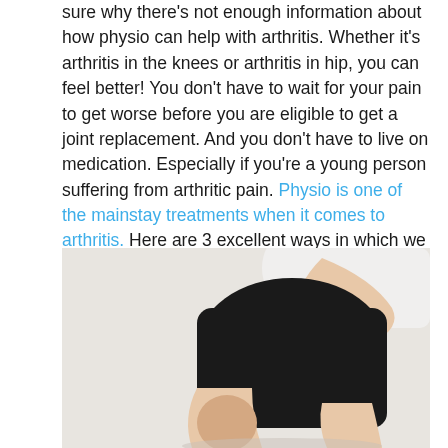sure why there's not enough information about how physio can help with arthritis. Whether it's arthritis in the knees or arthritis in hip, you can feel better! You don't have to wait for your pain to get worse before you are eligible to get a joint replacement. And you don't have to live on medication. Especially if you're a young person suffering from arthritic pain. Physio is one of the mainstay treatments when it comes to arthritis. Here are 3 excellent ways in which we can help you:
[Figure (photo): Person in black shorts holding their knee/thigh area with one hand, suggesting knee pain or arthritis discomfort, against a light background.]